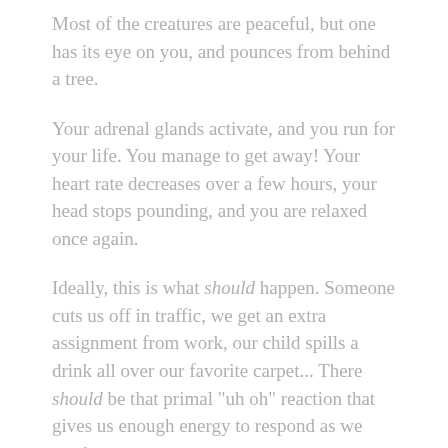Most of the creatures are peaceful, but one has its eye on you, and pounces from behind a tree.
Your adrenal glands activate, and you run for your life. You manage to get away! Your heart rate decreases over a few hours, your head stops pounding, and you are relaxed once again.
Ideally, this is what should happen. Someone cuts us off in traffic, we get an extra assignment from work, our child spills a drink all over our favorite carpet... There should be that primal "uh oh" reaction that gives us enough energy to respond as we need to.
The problem with stress is, well, too much of it.